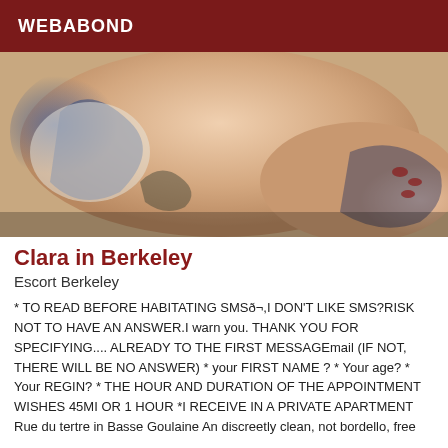WEBABOND
[Figure (photo): Close-up photo of a person's torso with a tattoo and blue fabric, lying down]
Clara in Berkeley
Escort Berkeley
* TO READ BEFORE HABITATING SMSð¬,I DON'T LIKE SMS?RISK NOT TO HAVE AN ANSWER.I warn you. THANK YOU FOR SPECIFYING.... ALREADY TO THE FIRST MESSAGEmail (IF NOT, THERE WILL BE NO ANSWER) * your FIRST NAME ? * Your age? * Your REGIN? * THE HOUR AND DURATION OF THE APPOINTMENT WISHES 45MI OR 1 HOUR *I RECEIVE IN A PRIVATE APARTMENT Rue du tertre in Basse Goulaine An discreetly clean, not bordello, free